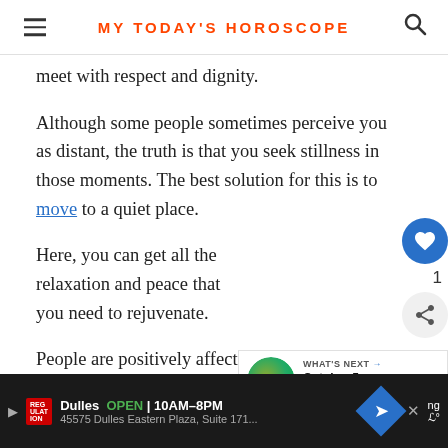MY TODAY'S HOROSCOPE
meet with respect and dignity.
Although some people sometimes perceive you as distant, the truth is that you seek stillness in those moments. The best solution for this is to move to a quiet place.
Here, you can get all the relaxation and peace that you need to rejuvenate.
People are positively affected by your
Dulles OPEN | 10AM–8PM
45575 Dulles Eastern Plaza, Suite 171...